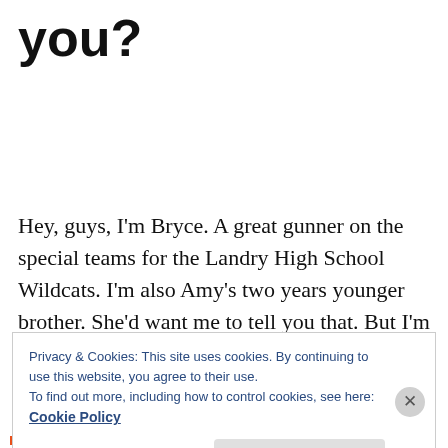you?
Hey, guys, I'm Bryce. A great gunner on the special teams for the Landry High School Wildcats. I'm also Amy's two years younger brother. She'd want me to tell you that. But I'm more than a pesky brother. I'm
Privacy & Cookies: This site uses cookies. By continuing to use this website, you agree to their use.
To find out more, including how to control cookies, see here:
Cookie Policy
Close and accept